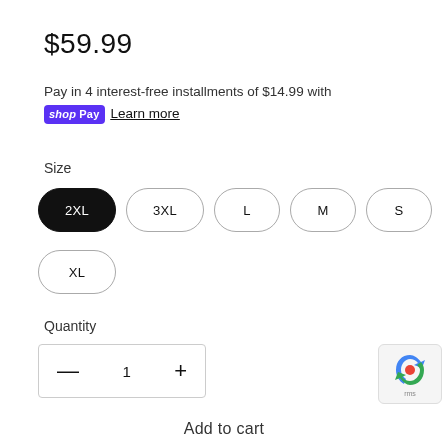$59.99
Pay in 4 interest-free installments of $14.99 with shopPay Learn more
Size
2XL 3XL L M S XL
Quantity
— 1 +
Add to cart